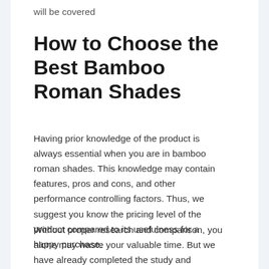will be covered
How to Choose the Best Bamboo Roman Shades
Having prior knowledge of the product is always essential when you are in bamboo roman shades. This knowledge may contain features, pros and cons, and other performance controlling factors. Thus, we suggest you know the pricing level of the product compared to its usefulness for a happy purchase.
Without proper research and comparison, you alone may waste your valuable time. But we have already completed the study and comparison to